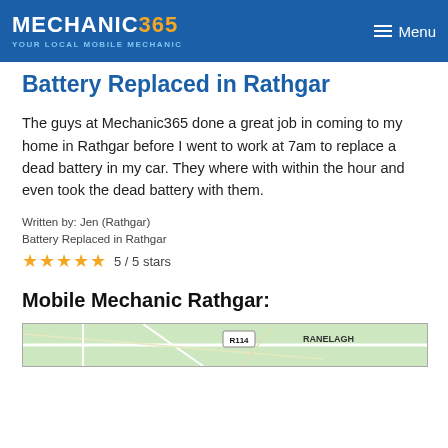MECHANIC365 YOUR LOCAL MOBILE MECHANIC | Menu
Battery Replaced in Rathgar
The guys at Mechanic365 done a great job in coming to my home in Rathgar before I went to work at 7am to replace a dead battery in my car. They where with within the hour and even took the dead battery with them.
Written by: Jen (Rathgar)
Battery Replaced in Rathgar
★★★★★ 5 / 5 stars
Mobile Mechanic Rathgar:
[Figure (map): Street map showing Rathgar area with R114 road label and RANELAGH text visible]